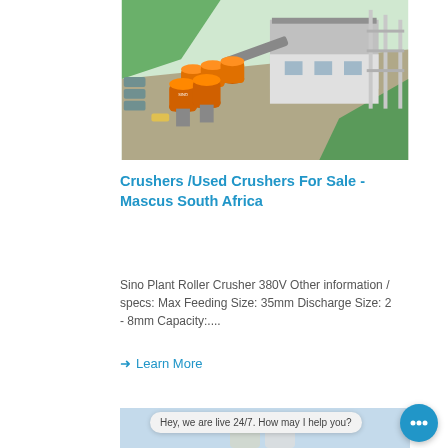[Figure (photo): Aerial isometric view of an industrial plant/concrete batching facility with orange silos, conveyor belts, and warehouse buildings surrounded by green area]
Crushers /Used Crushers For Sale - Mascus South Africa
Sino Plant Roller Crusher 380V Other information / specs: Max Feeding Size: 35mm Discharge Size: 2 - 8mm Capacity:....
➜ Learn More
[Figure (photo): Partial view of industrial equipment/concrete plant with chat bubble overlay saying 'Hey, we are live 24/7. How may I help you?']